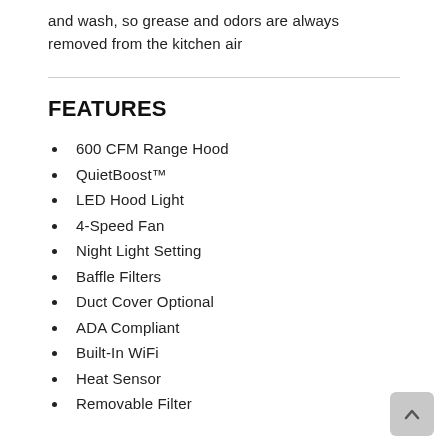and wash, so grease and odors are always removed from the kitchen air
FEATURES
600 CFM Range Hood
QuietBoost™
LED Hood Light
4-Speed Fan
Night Light Setting
Baffle Filters
Duct Cover Optional
ADA Compliant
Built-In WiFi
Heat Sensor
Removable Filter